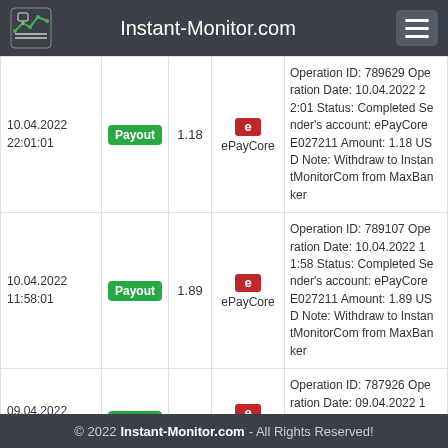Instant-Monitor.com
| Date | Type | Amount | System | Description |
| --- | --- | --- | --- | --- |
| 10.04.2022 22:01:01 | Payout | 1.18 | ePayCore | Operation ID: 789629 Operation Date: 10.04.2022 22:01 Status: Completed Sender's account: ePayCore E027211 Amount: 1.18 USD Note: Withdraw to InstantMonitorCom from MaxBanker |
| 10.04.2022 11:58:01 | Payout | 1.89 | ePayCore | Operation ID: 789107 Operation Date: 10.04.2022 11:58 Status: Completed Sender's account: ePayCore E027211 Amount: 1.89 USD Note: Withdraw to InstantMonitorCom from MaxBanker |
| 09.04.2022 12:06:01 | Payout | 1.18 | ePayCore | Operation ID: 787926 Operation Date: 09.04.2022 12:06 Status: Completed Sender's account: ePayCore E027211 Amount: 1.18 US |
© 2022 Instant-Monitor.com - All Rights Reserved!